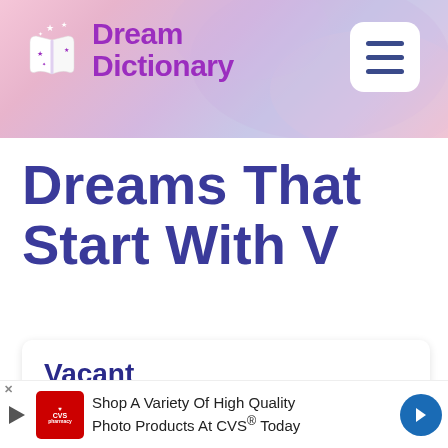[Figure (logo): Dream Dictionary website header banner with logo (open book with stars) and purple 'Dream Dictionary' text on a pink/lavender gradient background, with a white hamburger menu button on the right]
Dreams That Start With V
Vacant
[Figure (infographic): Advertisement banner: CVS Pharmacy logo with text 'Shop A Variety Of High Quality Photo Products At CVS® Today' and blue navigation arrow]